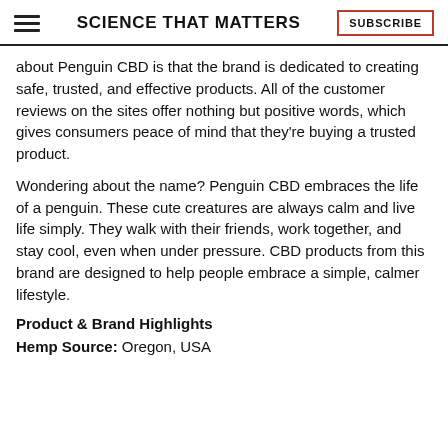SCIENCE THAT MATTERS | SUBSCRIBE
about Penguin CBD is that the brand is dedicated to creating safe, trusted, and effective products. All of the customer reviews on the sites offer nothing but positive words, which gives consumers peace of mind that they’re buying a trusted product.
Wondering about the name? Penguin CBD embraces the life of a penguin. These cute creatures are always calm and live life simply. They walk with their friends, work together, and stay cool, even when under pressure. CBD products from this brand are designed to help people embrace a simple, calmer lifestyle.
Product & Brand Highlights
Hemp Source: Oregon, USA